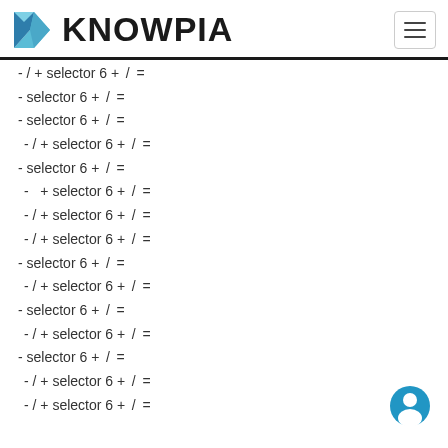KNOWPIA
- / + selector 6 + / =
- selector 6 + / =
- selector 6 + / =
- / + selector 6 + / =
- selector 6 + / =
-   + selector 6 + / =
- / + selector 6 + / =
- / + selector 6 + / =
- selector 6 + / =
- / + selector 6 + / =
- selector 6 + / =
- / + selector 6 + / =
- selector 6 + / =
- / + selector 6 + / =
- / + selector 6 + / =